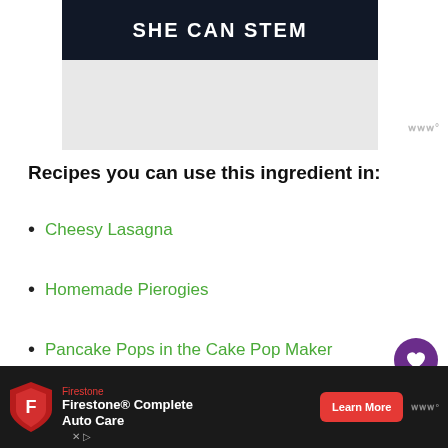[Figure (screenshot): SHE CAN STEM banner — white bold text on dark navy/black background]
Recipes you can use this ingredient in:
Cheesy Lasagna
Homemade Pierogies
Pancake Pops in the Cake Pop Maker
[Figure (screenshot): Firestone Complete Auto Care advertisement with shield logo and Learn More button]